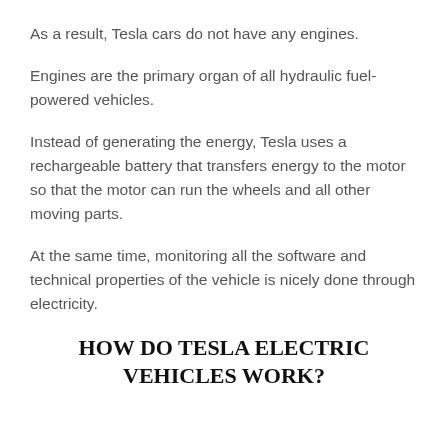As a result, Tesla cars do not have any engines.
Engines are the primary organ of all hydraulic fuel-powered vehicles.
Instead of generating the energy, Tesla uses a rechargeable battery that transfers energy to the motor so that the motor can run the wheels and all other moving parts.
At the same time, monitoring all the software and technical properties of the vehicle is nicely done through electricity.
HOW DO TESLA ELECTRIC VEHICLES WORK?